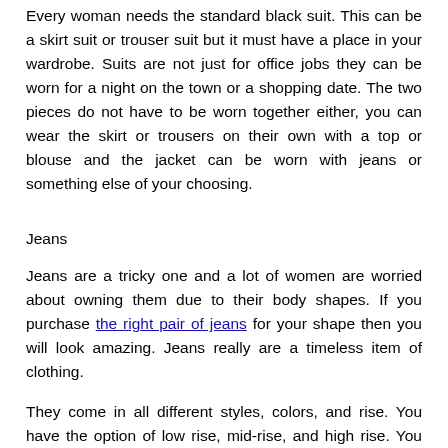Every woman needs the standard black suit. This can be a skirt suit or trouser suit but it must have a place in your wardrobe. Suits are not just for office jobs they can be worn for a night on the town or a shopping date. The two pieces do not have to be worn together either, you can wear the skirt or trousers on their own with a top or blouse and the jacket can be worn with jeans or something else of your choosing.
Jeans
Jeans are a tricky one and a lot of women are worried about owning them due to their body shapes. If you purchase the right pair of jeans for your shape then you will look amazing. Jeans really are a timeless item of clothing.
They come in all different styles, colors, and rise. You have the option of low rise, mid-rise, and high rise. You can buy jeans in just about any color from classic blue denim to pink. In terms of the style of jeans available, you can